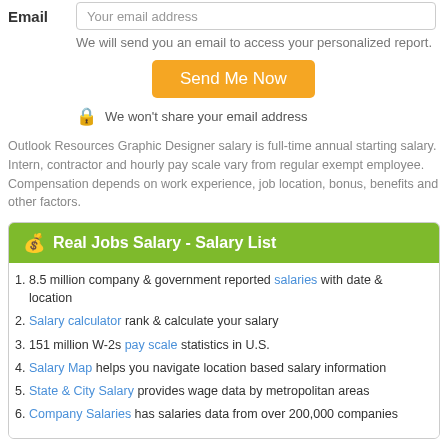Email — Your email address
We will send you an email to access your personalized report.
Send Me Now
We won't share your email address
Outlook Resources Graphic Designer salary is full-time annual starting salary. Intern, contractor and hourly pay scale vary from regular exempt employee. Compensation depends on work experience, job location, bonus, benefits and other factors.
Real Jobs Salary - Salary List
8.5 million company & government reported salaries with date & location
Salary calculator rank & calculate your salary
151 million W-2s pay scale statistics in U.S.
Salary Map helps you navigate location based salary information
State & City Salary provides wage data by metropolitan areas
Company Salaries has salaries data from over 200,000 companies